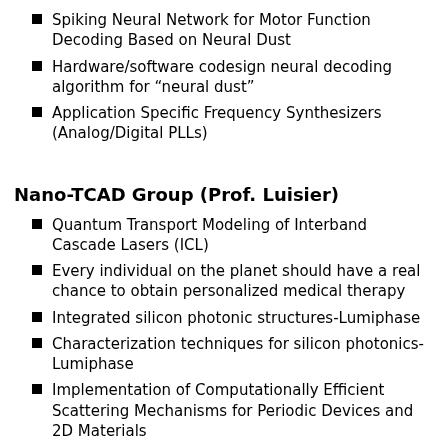Spiking Neural Network for Motor Function Decoding Based on Neural Dust
Hardware/software codesign neural decoding algorithm for "neural dust"
Application Specific Frequency Synthesizers (Analog/Digital PLLs)
Nano-TCAD Group (Prof. Luisier)
Quantum Transport Modeling of Interband Cascade Lasers (ICL)
Every individual on the planet should have a real chance to obtain personalized medical therapy
Integrated silicon photonic structures-Lumiphase
Characterization techniques for silicon photonics-Lumiphase
Implementation of Computationally Efficient Scattering Mechanisms for Periodic Devices and 2D Materials
Electrothermal characterization of van der Waals Heterostructures with a partial overlap
Phase-change memory devices for emerging computing paradigms
Finite element modeling of electrochemical random access memory